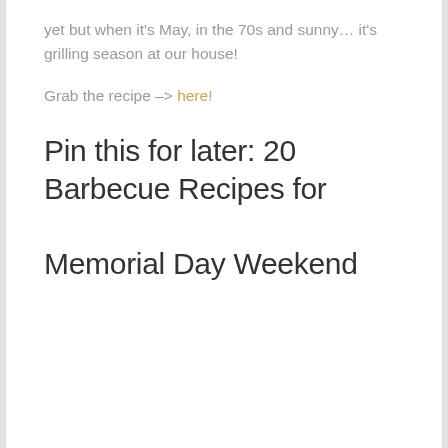yet but when it's May, in the 70s and sunny… it's grilling season at our house!
Grab the recipe -> here!
Pin this for later: 20 Barbecue Recipes for Memorial Day Weekend